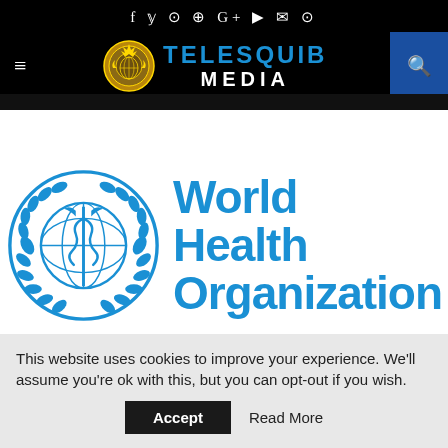f  y  ⊙  ⊕  G+  ▶  ✉  ⊙
[Figure (logo): Telesquib Media logo with golden emblem and blue/white text]
[Figure (logo): World Health Organization logo with blue WHO emblem and text 'World Health Organization']
This website uses cookies to improve your experience. We'll assume you're ok with this, but you can opt-out if you wish. Accept  Read More